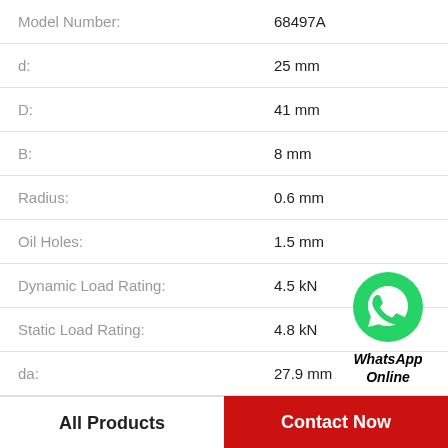| Property | Value |
| --- | --- |
| Model Number: | 68497A |
| d: | 25 mm |
| D: | 41 mm |
| B: | 8 mm |
| Radius: | 0.6 mm |
| Oil Holes: | 1.5 mm |
| Dynamic Load Rating: | 4.5 kN |
| Static Load Rating: | 4.8 kN |
| da: | 27.9 mm |
[Figure (logo): WhatsApp green circle icon with phone handset, labeled 'WhatsApp Online' in bold italic]
Product Details
All Products
Contact Now